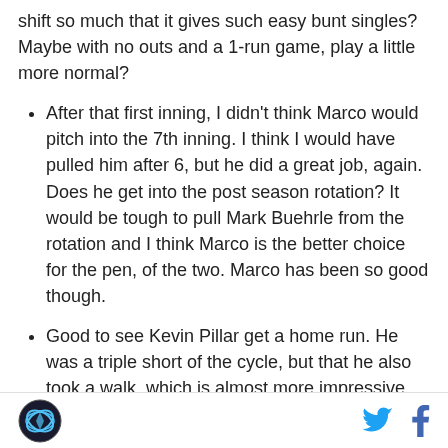shift so much that it gives such easy bunt singles? Maybe with no outs and a 1-run game, play a little more normal?
After that first inning, I didn't think Marco would pitch into the 7th inning. I think I would have pulled him after 6, but he did a great job, again. Does he get into the post season rotation? It would be tough to pull Mark Buehrle from the rotation and I think Marco is the better choice for the pen, of the two. Marco has been so good though.
Good to see Kevin Pillar get a home run. He was a triple short of the cycle, but that he also took a walk, which is almost more impressive than the